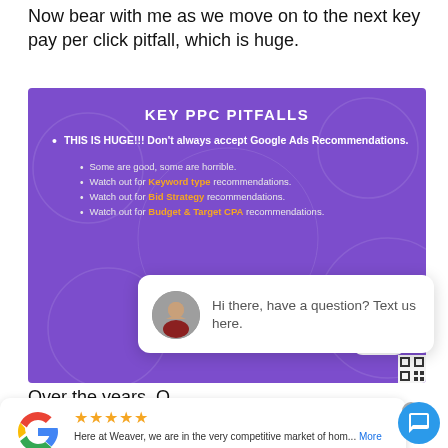Now bear with me as we move on to the next key pay per click pitfall, which is huge.
[Figure (screenshot): Purple slide showing KEY PPC PITFALLS with bullet points about Google Ads Recommendations, including sub-bullets about Keyword type, Bid Strategy, and Budget & Target CPA recommendations. A 'close' button appears at bottom right.]
[Figure (screenshot): Chat popup with woman avatar saying 'Hi there, have a question? Text us here.']
Over the years. O
[Figure (screenshot): Google review card showing 4 stars, text 'Here at Weaver, we are in the very competitive market of hom... More', authored by Jesse Dinan, with Google logo on left.]
[Figure (screenshot): Blue circular chat button with speech bubble icon at bottom right.]